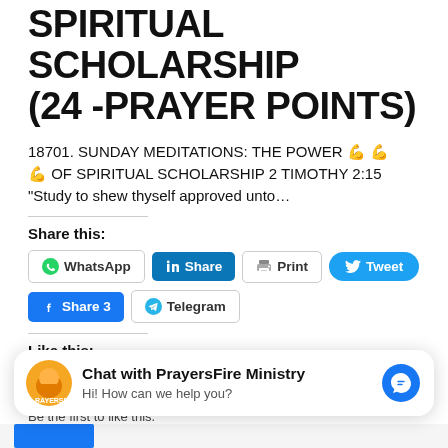SPIRITUAL SCHOLARSHIP (24 -PRAYER POINTS)
18701. SUNDAY MEDITATIONS: THE POWER 💪💪💪 OF SPIRITUAL SCHOLARSHIP 2 TIMOTHY 2:15 "Study to shew thyself approved unto...
Share this:
[Figure (screenshot): Social share buttons row 1: WhatsApp, LinkedIn Share, Print, Tweet (Twitter)]
[Figure (screenshot): Social share buttons row 2: Facebook Share 3, Telegram]
Like this:
[Figure (screenshot): Like button widget]
Be the first to like this.
Chat with PrayersFire Ministry
Hi! How can we help you?